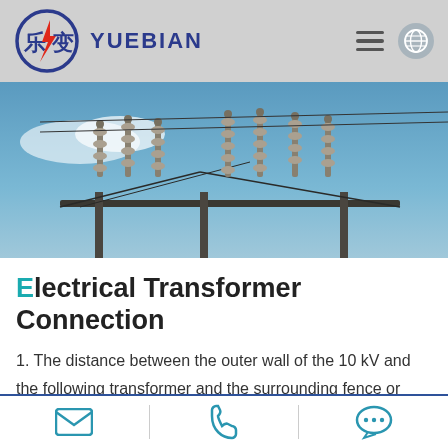YUEBIAN
[Figure (photo): Photo of high-voltage electrical transformer substation equipment with insulators and conductors against a blue sky]
Electrical Transformer Connection
1. The distance between the outer wall of the 10 kV and the following transformer and the surrounding fence or wall should consider the convenience of transformer transportation and maintenance, and the distance should not be less than 1 m: The
Email | Phone | Chat